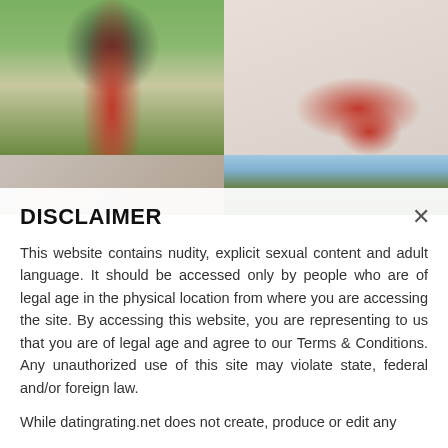[Figure (photo): Four photos arranged in a 2x2 grid. Top left: person in red dress standing outdoors on grass/stone path. Top right: person in red dress/red heels reclining on a white couch. Bottom left: partial close-up photo, blurred. Bottom right: partial outdoor photo with trees.]
DISCLAIMER
This website contains nudity, explicit sexual content and adult language. It should be accessed only by people who are of legal age in the physical location from where you are accessing the site. By accessing this website, you are representing to us that you are of legal age and agree to our Terms & Conditions. Any unauthorized use of this site may violate state, federal and/or foreign law.
While datingrating.net does not create, produce or edit any